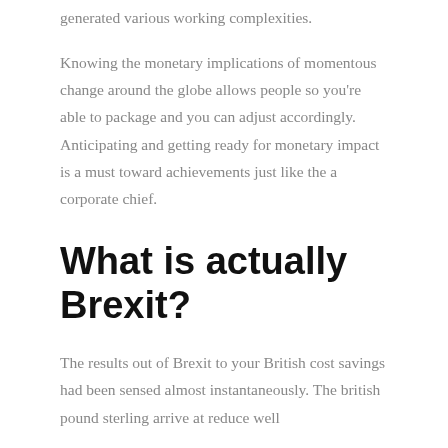generated various working complexities.
Knowing the monetary implications of momentous change around the globe allows people so you're able to package and you can adjust accordingly. Anticipating and getting ready for monetary impact is a must toward achievements just like the a corporate chief.
What is actually Brexit?
The results out of Brexit to your British cost savings had been sensed almost instantaneously. The british pound sterling arrive at reduce well